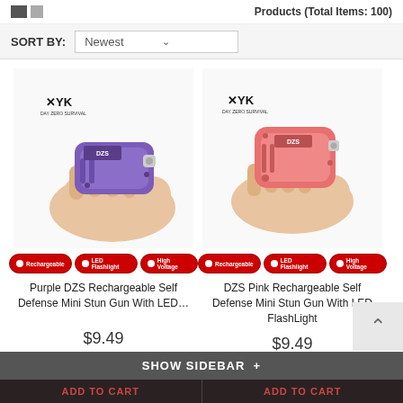Products (Total Items: 100)
SORT BY: Newest
[Figure (photo): Hand holding a purple DZS rechargeable mini stun gun with LED flashlight, with DZS logo visible. Badges: Rechargeable, LED Flashlight, High Voltage.]
Purple DZS Rechargeable Self Defense Mini Stun Gun With LED...
$9.49
1
[Figure (photo): Hand holding a pink DZS rechargeable mini stun gun with LED flashlight, with DZS logo visible. Badges: Rechargeable, LED Flashlight, High Voltage.]
DZS Pink Rechargeable Self Defense Mini Stun Gun With LED FlashLight
$9.49
1
SHOW SIDEBAR +
ADD TO CART
ADD TO CART